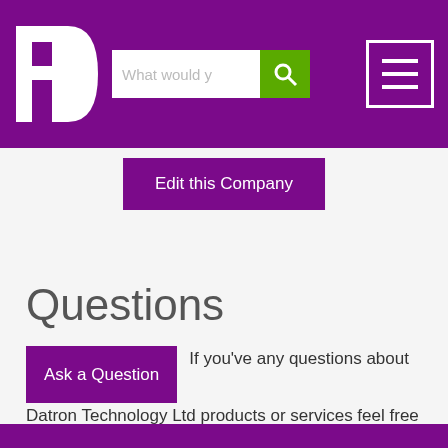[Figure (logo): FD logo — white letters F and D on purple background]
What would y
Edit this Company
Questions
Ask a Question  If you've any questions about Datron Technology Ltd products or services feel free to ask them here.